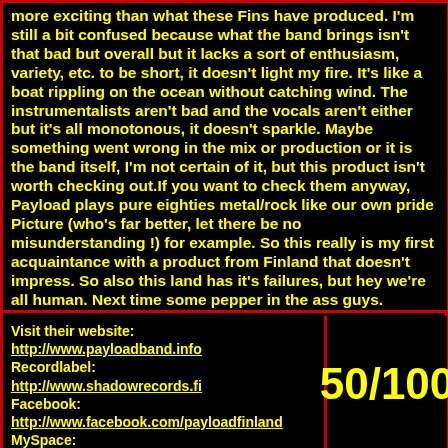more exciting than what these Fins have produced. I'm still a bit confused because what the band brings isn't that bad but overall but it lacks a sort of enthusiasm, variety, etc. to be short, it doesn't light my fire. It's like a boat rippling on the ocean without catching wind. The instrumentalists aren't bad and the vocals aren't either but it's all monotonous, it doesn't sparkle. Maybe something went wrong in the mix or production or it is the band itself, I'm not certain of it, but this product isn't worth checking out.If you want to check them anyway, Payload plays pure eighties metal/rock like our own pride Picture (who's far better, let there be no misunderstanding !) for example. So this really is my first acquaintance with a product from Finland that doesn't impress. So also this land has it's failures, but hey we're all human. Next time some pepper in the ass guys.
Visit their website:
http://www.payloadband.info
Recordlabel:
http://www.shadowrecords.fi
Facebook:
http://www.facebook.com/payloadfinland
MySpace:
http://www.myspace.com/payloadfinland
50/100